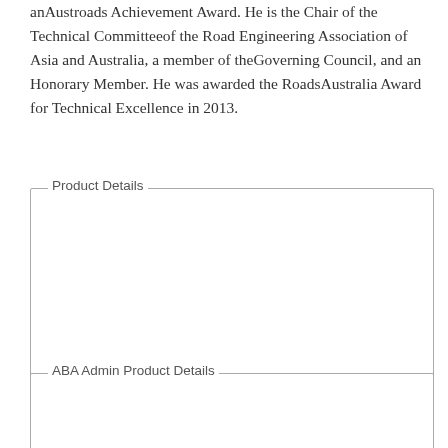an Austroads Achievement Award. He is the Chair of the Technical Committee of the Road Engineering Association of Asia and Australia, a member of the Governing Council, and an Honorary Member. He was awarded the Roads Australia Award for Technical Excellence in 2013.
Product Details
ISBN: 9780367520809
ISBN-10: 036752080X
Publisher: CRC Press
Publication Date: November 23rd, 2020
Pages: 300
Language: English
ABA Admin Product Details
Data Source: Ingram
Created At: 6/21/2020 06:23am